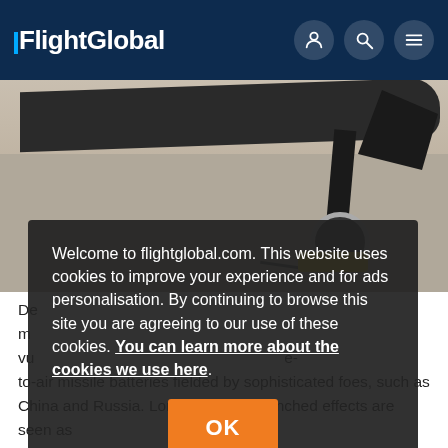FlightGlobal
[Figure (photo): Close-up photograph of an aircraft landing gear on tarmac, showing the wheel with yellow chocks beneath it and a structural strut, with the underside of the aircraft wing visible at the top of the frame.]
Welcome to flightglobal.com. This website uses cookies to improve your experience and for ads personalisation. By continuing to browse this site you are agreeing to our use of these cookies. You can learn more about the cookies we use here.
OK
De... m... vu... e-to-air missile batteries fielded by sophisticated foes, such as China and Russia. Long-range air-launched effects are seen as...